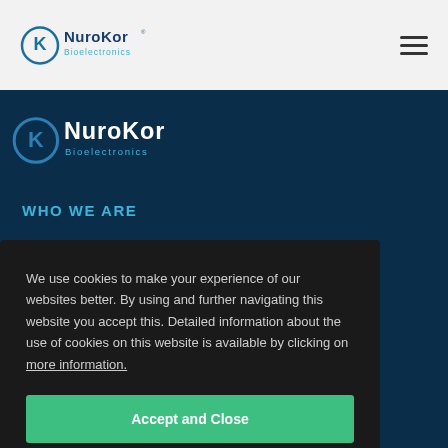[Figure (logo): NuroKor Bioelectronics logo in navigation bar — circular K emblem with NuroKor text and Bioelectronics subtitle]
[Figure (logo): NuroKor Bioelectronics large logo (partially cropped) shown on dark navy background]
WHO WE ARE
We use cookies to make your experience of our websites better. By using and further navigating this website you accept this. Detailed information about the use of cookies on this website is available by clicking on more information.
Accept and Close